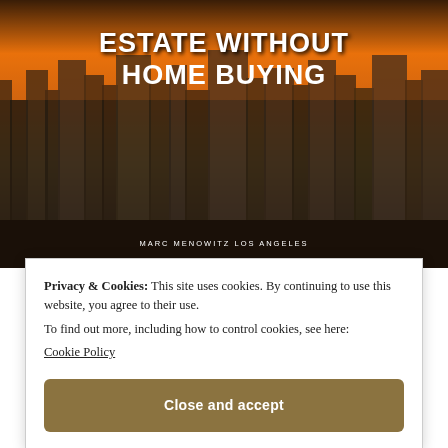[Figure (photo): Aerial cityscape photo of Los Angeles skyline at dusk/sunset with tall buildings, warm orange sky tones. White bold text overlay reads 'ESTATE WITHOUT HOME BUYING'. Attribution text reads 'MARC MENOWITZ LOS ANGELES'.]
ESTATE WITHOUT HOME BUYING
MARC MENOWITZ LOS ANGELES
In the past, buying property was the only way to invest in real estate, but evolving technology has opened new methods that don't require financing a property
Privacy & Cookies: This site uses cookies. By continuing to use this website, you agree to their use. To find out more, including how to control cookies, see here: Cookie Policy